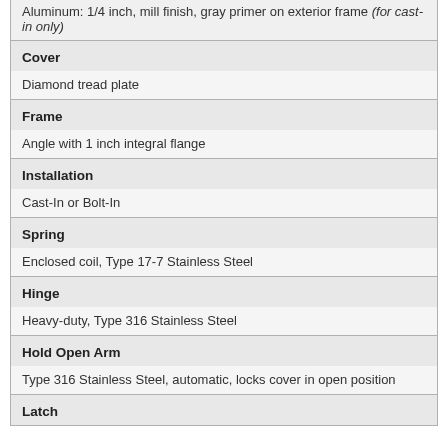| Property | Value |
| --- | --- |
|  | Aluminum: 1/4 inch, mill finish, gray primer on exterior frame (for cast-in only) |
| Cover | Diamond tread plate |
| Frame | Angle with 1 inch integral flange |
| Installation | Cast-In or Bolt-In |
| Spring | Enclosed coil, Type 17-7 Stainless Steel |
| Hinge | Heavy-duty, Type 316 Stainless Steel |
| Hold Open Arm | Type 316 Stainless Steel, automatic, locks cover in open position |
| Latch |  |